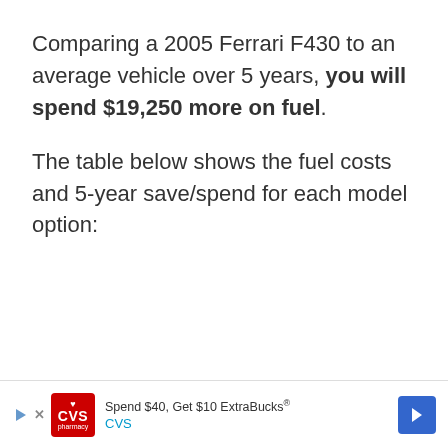Comparing a 2005 Ferrari F430 to an average vehicle over 5 years, you will spend $19,250 more on fuel. The table below shows the fuel costs and 5-year save/spend for each model option:
[Figure (other): CVS pharmacy advertisement banner: 'Spend $40, Get $10 ExtraBucks® CVS' with CVS logo and navigation arrow]